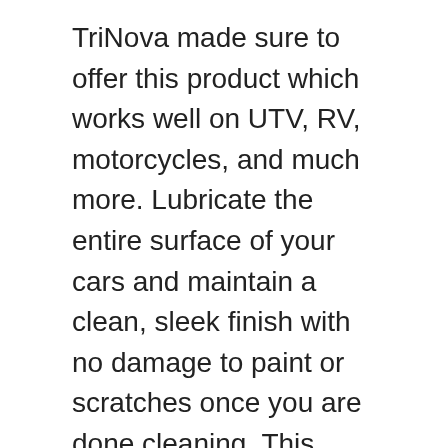TriNova made sure to offer this product which works well on UTV, RV, motorcycles, and much more. Lubricate the entire surface of your cars and maintain a clean, sleek finish with no damage to paint or scratches once you are done cleaning. This highly concentrated solution lasts for several applications.
It provides strong UV protection and water protection. Restore the shine of your vehicle and prevent any chipping or fading of color. Just dilute this product in a small amount of water as listed in instructions and spread over the surface. After which, you just need to wipe off.